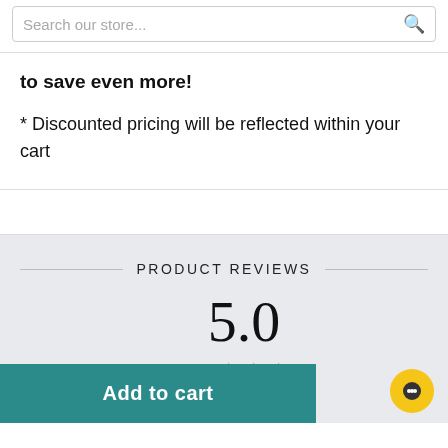Search our store...
to save even more!
* Discounted pricing will be reflected within your cart
PRODUCT REVIEWS
5.0
★★★
iew
Add to cart